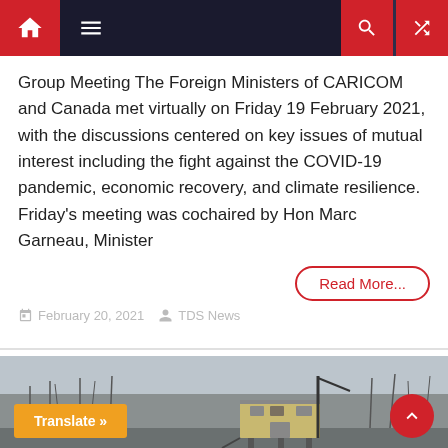Navigation bar with home, menu, search, and shuffle icons
Group Meeting The Foreign Ministers of CARICOM and Canada met virtually on Friday 19 February 2021, with the discussions centered on key issues of mutual interest including the fight against the COVID-19 pandemic, economic recovery, and climate resilience. Friday's meeting was cochaired by Hon Marc Garneau, Minister
Read More...
February 20, 2021   TDS News
[Figure (photo): Outdoor industrial building scene — a yellow elevated structure with stairs and a crane-like apparatus, set among bare winter trees under a grey overcast sky.]
Translate »